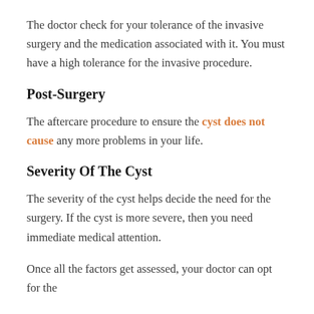The doctor check for your tolerance of the invasive surgery and the medication associated with it. You must have a high tolerance for the invasive procedure.
Post-Surgery
The aftercare procedure to ensure the cyst does not cause any more problems in your life.
Severity Of The Cyst
The severity of the cyst helps decide the need for the surgery. If the cyst is more severe, then you need immediate medical attention.
Once all the factors get assessed, your doctor can opt for the